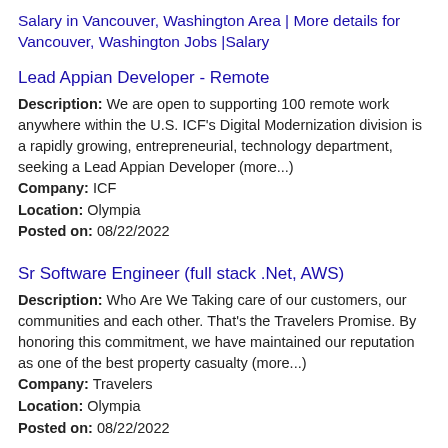Salary in Vancouver, Washington Area | More details for Vancouver, Washington Jobs |Salary
Lead Appian Developer - Remote
Description: We are open to supporting 100 remote work anywhere within the U.S. ICF's Digital Modernization division is a rapidly growing, entrepreneurial, technology department, seeking a Lead Appian Developer (more...)
Company: ICF
Location: Olympia
Posted on: 08/22/2022
Sr Software Engineer (full stack .Net, AWS)
Description: Who Are We Taking care of our customers, our communities and each other. That's the Travelers Promise. By honoring this commitment, we have maintained our reputation as one of the best property casualty (more...)
Company: Travelers
Location: Olympia
Posted on: 08/22/2022
Travel Nurse RN - Labor and Delivery - $3,196 per week, Nights